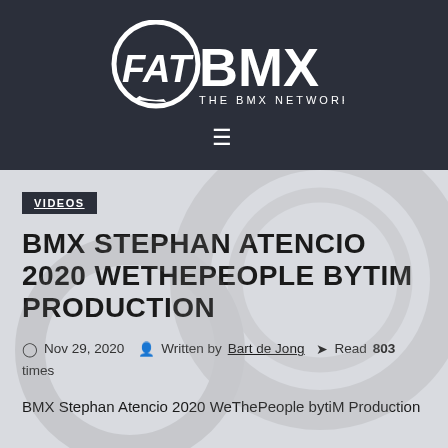[Figure (logo): FATBMX - THE BMX NETWORK logo in white on dark navy background, with circular speech bubble icon]
≡
VIDEOS
BMX STEPHAN ATENCIO 2020 WETHEPEOPLE BYTIM PRODUCTION
Nov 29, 2020  Written by Bart de Jong  Read 803 times
BMX Stephan Atencio 2020 WeThePeople bytiM Production